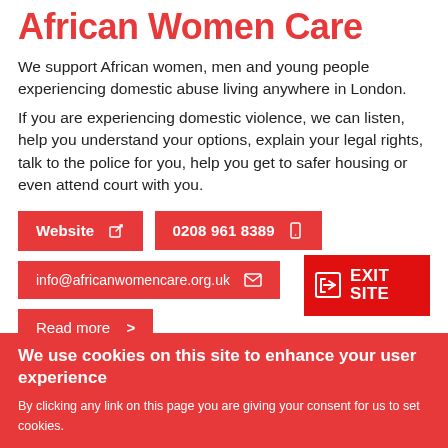African Women Care
We support African women, men and young people experiencing domestic abuse living anywhere in London.
If you are experiencing domestic violence, we can listen, help you understand your options, explain your legal rights, talk to the police for you, help you get to safer housing or even attend court with you.
Website
0208 961 8389
info@africanwomencare.org.uk
EXIT SITE
Read more >
We use cookies on this site to enhance your user experience
By clicking any link on this page you are giving your consent for us to set cookies.